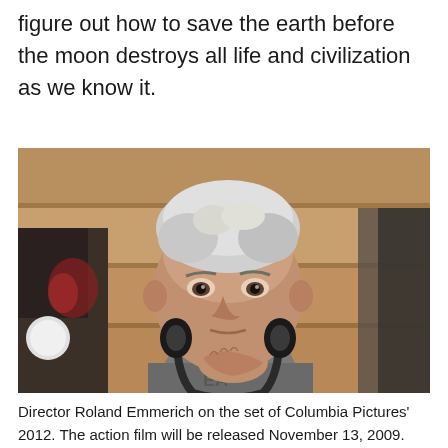figure out how to save the earth before the moon destroys all life and civilization as we know it.
[Figure (photo): Director Roland Emmerich on a film set, wearing a grey t-shirt with headphones around his neck, holding the headphones with one hand. He has short white/grey hair and is looking at the camera. Background shows a wooden panel wall and some equipment.]
Director Roland Emmerich on the set of Columbia Pictures' 2012. The action film will be released November 13, 2009.